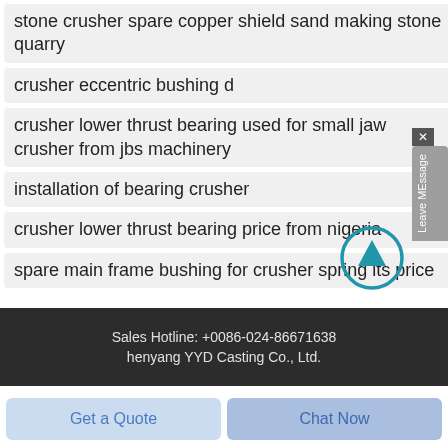stone crusher spare copper shield sand making stone quarry
crusher eccentric bushing d
crusher lower thrust bearing used for small jaw crusher from jbs machinery
installation of bearing crusher
crusher lower thrust bearing price from nigeria
spare main frame bushing for crusher spring its price
[Figure (other): Leave MEssage vertical tab on right side with X close button]
[Figure (other): Up arrow circle icon]
Sales Hotline: +0086-024-86671638
henyang YYD Casting Co., Ltd.
Get a Quote
Chat Now